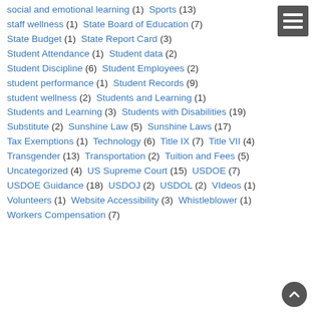social and emotional learning (1)  Sports (13)
staff wellness (1)  State Board of Education (7)
State Budget (1)  State Report Card (3)
Student Attendance (1)  Student data (2)
Student Discipline (6)  Student Employees (2)
student performance (1)  Student Records (9)
student wellness (2)  Students and Learning (1)
Students and Learning (3)  Students with Disabilities (19)
Substitute (2)  Sunshine Law (5)  Sunshine Laws (17)
Tax Exemptions (1)  Technology (6)  Title IX (7)  Title VII (4)
Transgender (13)  Transportation (2)  Tuition and Fees (5)
Uncategorized (4)  US Supreme Court (15)  USDOE (7)
USDOE Guidance (18)  USDOJ (2)  USDOL (2)  VIdeos (1)
Volunteers (1)  Website Accessibility (3)  Whistleblower (1)
Workers Compensation (7)